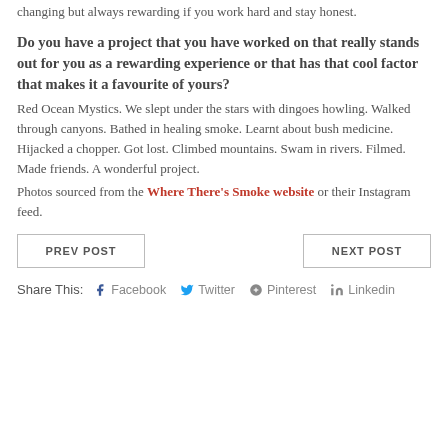changing but always rewarding if you work hard and stay honest.
Do you have a project that you have worked on that really stands out for you as a rewarding experience or that has that cool factor that makes it a favourite of yours?
Red Ocean Mystics. We slept under the stars with dingoes howling. Walked through canyons. Bathed in healing smoke. Learnt about bush medicine. Hijacked a chopper. Got lost. Climbed mountains. Swam in rivers. Filmed. Made friends. A wonderful project.
Photos sourced from the Where There's Smoke website or their Instagram feed.
PREV POST
NEXT POST
Share This: Facebook Twitter Pinterest Linkedin